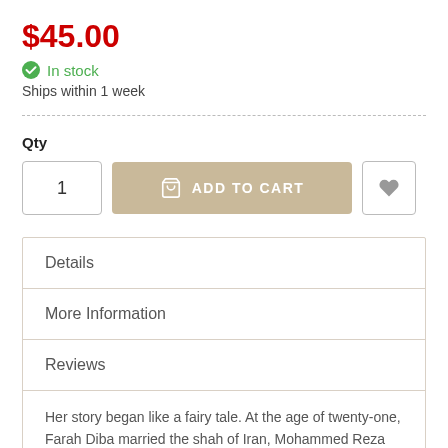$45.00
In stock
Ships within 1 week
Qty
[Figure (infographic): Add to cart row with quantity input showing '1', a tan 'ADD TO CART' button with cart icon, and a wishlist heart button]
Details
More Information
Reviews
Her story began like a fairy tale. At the age of twenty-one, Farah Diba married the shah of Iran, Mohammed Reza Shah